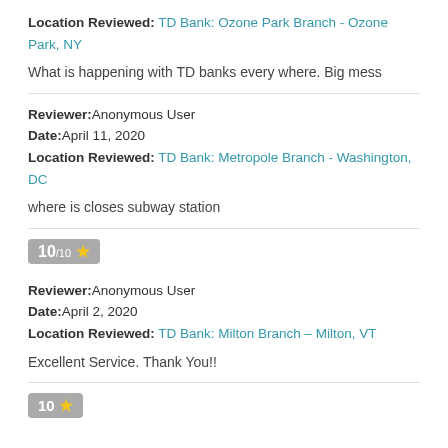Location Reviewed: TD Bank: Ozone Park Branch - Ozone Park, NY
What is happening with TD banks every where. Big mess
Reviewer: Anonymous User
Date: April 11, 2020
Location Reviewed: TD Bank: Metropole Branch - Washington, DC
where is closes subway station
10/10 ★
Reviewer: Anonymous User
Date: April 2, 2020
Location Reviewed: TD Bank: Milton Branch - Milton, VT
Excellent Service. Thank You!!
10 ★